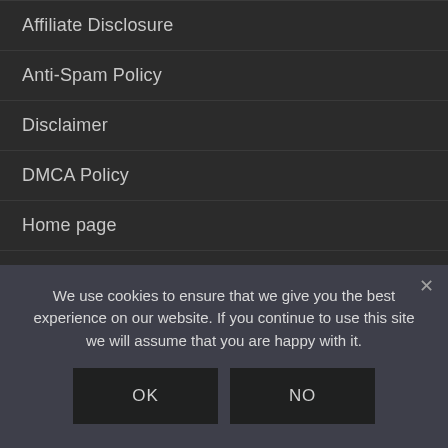Affiliate Disclosure
Anti-Spam Policy
Disclaimer
DMCA Policy
Home page
Privacy Policy
Terms of Use
We use cookies to ensure that we give you the best experience on our website. If you continue to use this site we will assume that you are happy with it.
OK
NO